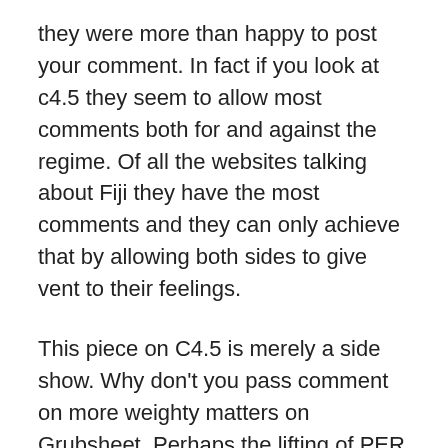they were more than happy to post your comment. In fact if you look at c4.5 they seem to allow most comments both for and against the regime. Of all the websites talking about Fiji they have the most comments and they can only achieve that by allowing both sides to give vent to their feelings.
This piece on C4.5 is merely a side show. Why don't you pass comment on more weighty matters on Grubsheet. Perhaps the lifting of PER and its replacement with the amended Public Order Act. Perhaps the failing economy. Perhaps The new State Proceedings Amendment Decree which gives all the dictators cronies the power to libel and slander their enemies without redress in the courts.